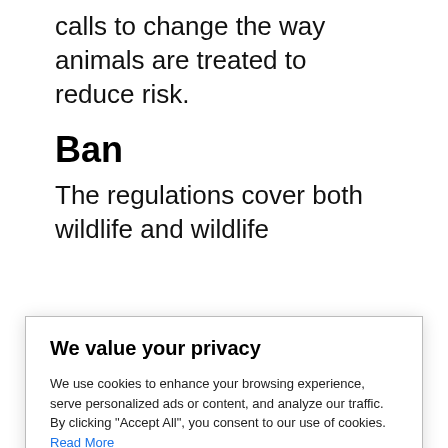calls to change the way animals are treated to reduce risk.
Ban
The regulations cover both wildlife and wildlife
We value your privacy
We use cookies to enhance your browsing experience, serve personalized ads or content, and analyze our traffic. By clicking "Accept All", you consent to our use of cookies. Read More
Accept All
Customize
Reject All